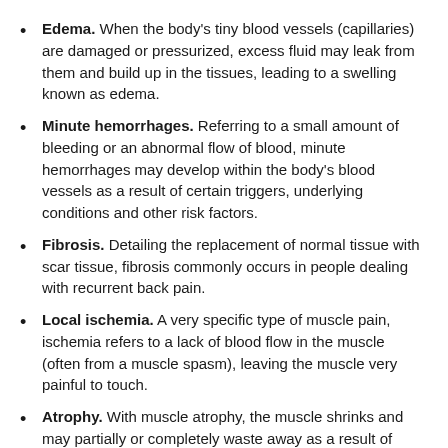Edema. When the body's tiny blood vessels (capillaries) are damaged or pressurized, excess fluid may leak from them and build up in the tissues, leading to a swelling known as edema.
Minute hemorrhages. Referring to a small amount of bleeding or an abnormal flow of blood, minute hemorrhages may develop within the body's blood vessels as a result of certain triggers, underlying conditions and other risk factors.
Fibrosis. Detailing the replacement of normal tissue with scar tissue, fibrosis commonly occurs in people dealing with recurrent back pain.
Local ischemia. A very specific type of muscle pain, ischemia refers to a lack of blood flow in the muscle (often from a muscle spasm), leaving the muscle very painful to touch.
Atrophy. With muscle atrophy, the muscle shrinks and may partially or completely waste away as a result of inactivity or various diseases and conditions.